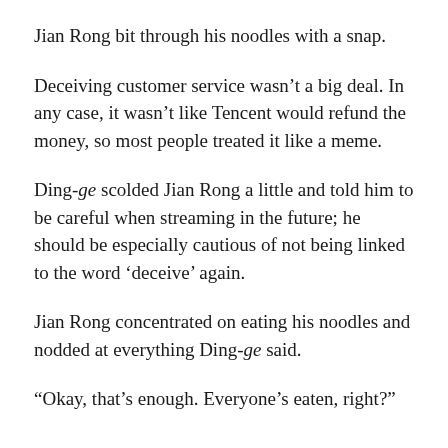Jian Rong bit through his noodles with a snap.
Deceiving customer service wasn’t a big deal. In any case, it wasn’t like Tencent would refund the money, so most people treated it like a meme.
Ding-ge scolded Jian Rong a little and told him to be careful when streaming in the future; he should be especially cautious of not being linked to the word ‘deceive’ again.
Jian Rong concentrated on eating his noodles and nodded at everything Ding-ge said.
“Okay, that’s enough. Everyone’s eaten, right?”